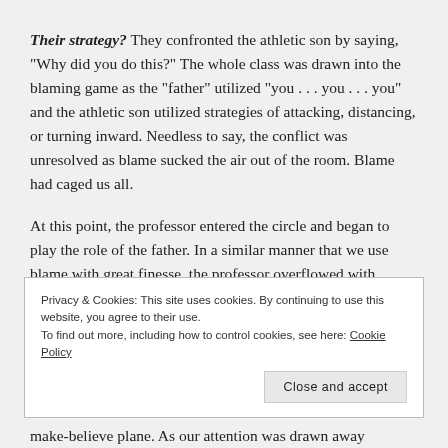Their strategy? They confronted the athletic son by saying, “Why did you do this?” The whole class was drawn into the blaming game as the “father” utilized “you … you … you” and the athletic son utilized strategies of attacking, distancing, or turning inward. Needless to say, the conflict was unresolved as blame sucked the air out of the room. Blame had caged us all.
At this point, the professor entered the circle and began to play the role of the father. In a similar manner that we use blame with great finesse, the professor overflowed with gentleness and grace, and the blame seeped out of
Privacy & Cookies: This site uses cookies. By continuing to use this website, you agree to their use.
To find out more, including how to control cookies, see here: Cookie Policy
make-believe plane. As our attention was drawn away